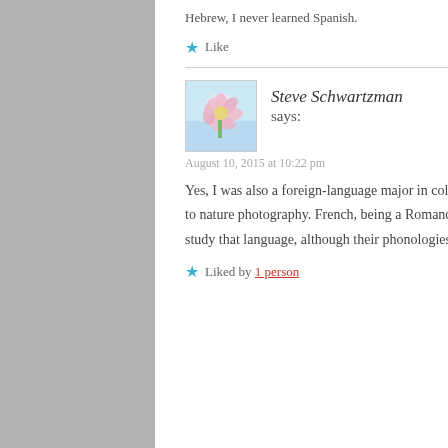Hebrew, I never learned Spanish.
★ Like
Steve Schwartzman says:
August 10, 2015 at 10:22 pm
Yes, I was also a foreign-language major in college and I started the language blog the year before I began the one devoted to nature photography. French, being a Romance language, will give you a good head start on Spanish if you ever decide to study that language, although their phonologies are rather different.
★ Liked by 1 person